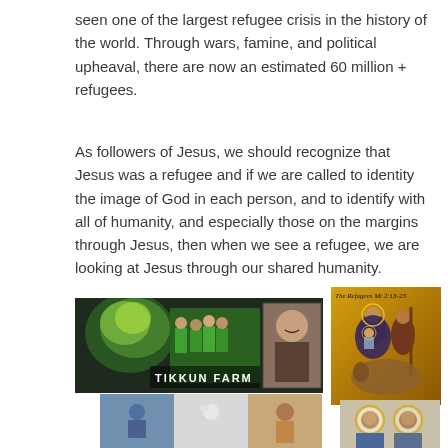seen one of the largest refugee crisis in the history of the world.  Through wars, famine, and political upheaval, there are now an estimated 60 million + refugees.
As followers of Jesus, we should recognize that Jesus was a refugee and if we are called to identity the image of God in each person, and to identify with all of humanity, and especially those on the margins through Jesus, then when we see a refugee, we are looking at Jesus through our shared humanity.
[Figure (photo): Tikkun Farm collage showing people in green shirts, a woman smiling, and another person, with 'TIKKUN FARM' text overlay]
[Figure (illustration): Religious icon painting titled 'The Refugees Mt 2:13-23' showing figures in Byzantine style on gold background]
[Figure (photo): Bottom left collage showing three images of people including a white dog]
[Figure (illustration): Bottom right image showing two figures with halos in religious icon style]